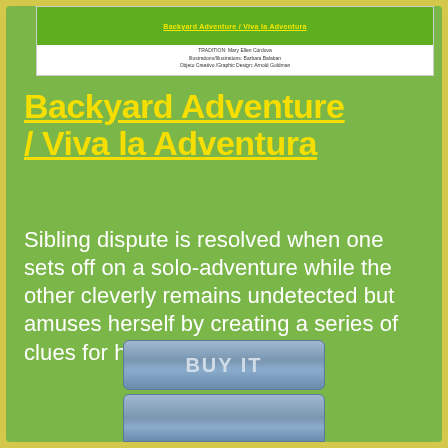[Figure (screenshot): Book cover thumbnail showing green background with yellow title text and credits below]
Backyard Adventure / Viva la Adventura
Sibling dispute is resolved when one sets off on a solo-adventure while the other cleverly remains undetected but amuses herself by creating a series of clues for him to follow.
[Figure (other): BUY IT button - blue/grey rounded rectangle button]